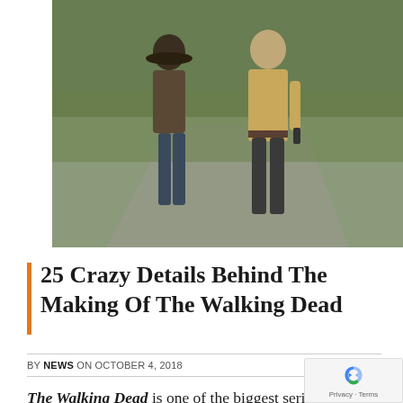[Figure (photo): Two men walking on a road, one younger wearing a hat and the other older in a beige shirt, from The Walking Dead TV series]
25 Crazy Details Behind The Making Of The Walking Dead
BY NEWS ON OCTOBER 4, 2018    NEWS
The Walking Dead is one of the biggest series on television thanks to its devotion to character development, brilliant makeup effects, and an intriguing storyline. While the series' ratings have gone down in recent years and some fans have rage-